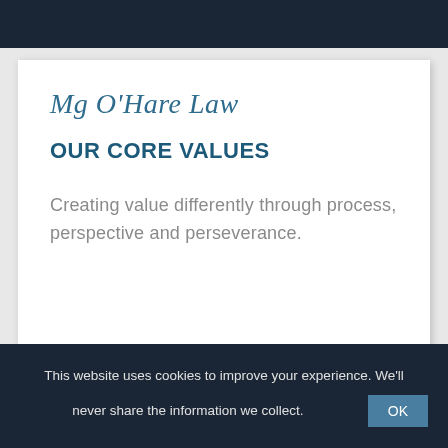Mg O'Hare Law
OUR CORE VALUES
Creating value differently through process, perspective and perseverance.
This website uses cookies to improve your experience. We'll never share the information we collect.